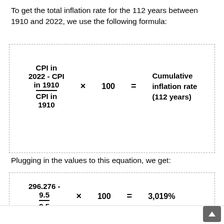To get the total inflation rate for the 112 years between 1910 and 2022, we use the following formula:
Plugging in the values to this equation, we get: